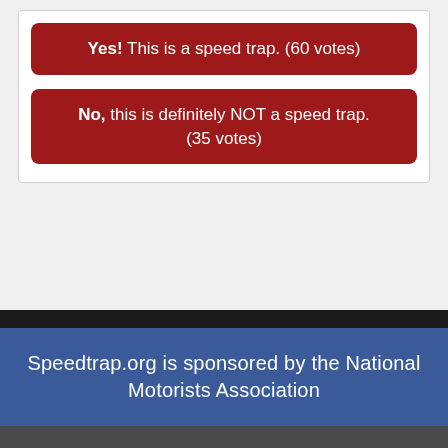Yes! This is a speed trap. (60 votes)
No, this is definitely NOT a speed trap. (35 votes)
Speedtrap.org is sponsored by the National Motorists Association